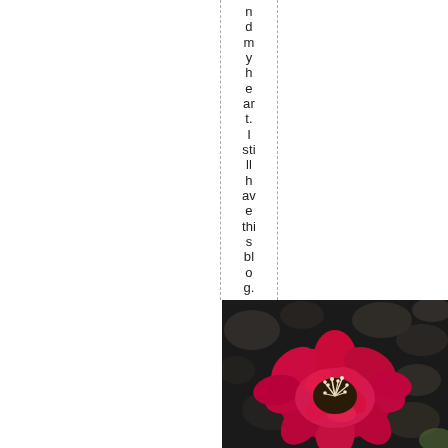ndmyheart. I still have this blog.
[Figure (photo): Close-up photograph of a bright red/pink zinnia flower with white-tipped stamens in the center, against a dark blurred background]